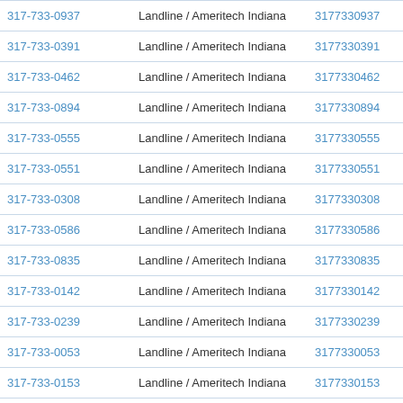| Phone | Type | Number | Action |
| --- | --- | --- | --- |
| 317-733-0937 | Landline / Ameritech Indiana | 3177330937 | View R |
| 317-733-0391 | Landline / Ameritech Indiana | 3177330391 | View R |
| 317-733-0462 | Landline / Ameritech Indiana | 3177330462 | View R |
| 317-733-0894 | Landline / Ameritech Indiana | 3177330894 | View R |
| 317-733-0555 | Landline / Ameritech Indiana | 3177330555 | View R |
| 317-733-0551 | Landline / Ameritech Indiana | 3177330551 | View R |
| 317-733-0308 | Landline / Ameritech Indiana | 3177330308 | View R |
| 317-733-0586 | Landline / Ameritech Indiana | 3177330586 | View R |
| 317-733-0835 | Landline / Ameritech Indiana | 3177330835 | View R |
| 317-733-0142 | Landline / Ameritech Indiana | 3177330142 | View R |
| 317-733-0239 | Landline / Ameritech Indiana | 3177330239 | View R |
| 317-733-0053 | Landline / Ameritech Indiana | 3177330053 | View R |
| 317-733-0153 | Landline / Ameritech Indiana | 3177330153 | View R |
| 317-733-0564 | Landline / Ameritech Indiana | 3177330564 | View R |
| 317-733-0230 | Landline / Ameritech Indiana | 3177330230 | v R |
| 317-733-0365 | Landline / Ameritech Indiana | 3177330365 | ew R |
| 317-733-0126 | Landline / Ameritech Indiana | 3177330126 | View R |
| 317-733-0728 | Landline / Ameritech Indiana | 3177330728 | View R |